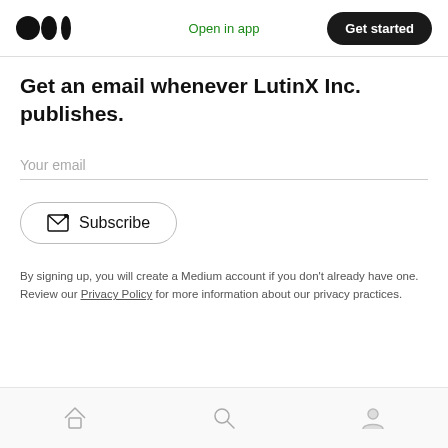Open in app  Get started
Get an email whenever LutinX Inc. publishes.
Your email
Subscribe
By signing up, you will create a Medium account if you don't already have one. Review our Privacy Policy for more information about our privacy practices.
Home  Search  Profile